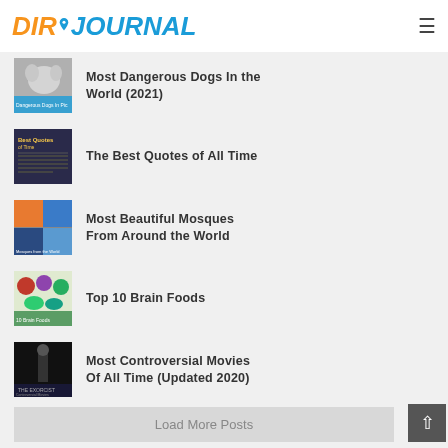DIRJOURNAL
Most Dangerous Dogs In the World (2021)
The Best Quotes of All Time
Most Beautiful Mosques From Around the World
Top 10 Brain Foods
Most Controversial Movies Of All Time (Updated 2020)
Load More Posts